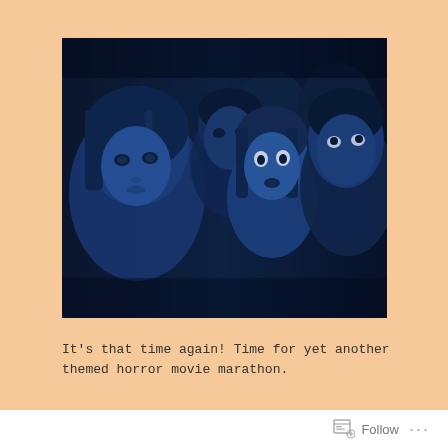[Figure (photo): A dark blue-tinted horror movie promotional photo showing four young people (two women and two men) looking upward with fearful expressions, clustered together against a black background.]
It's that time again! Time for yet another themed horror movie marathon.
I have a tried and true Fourth of July horror movie
Follow ...